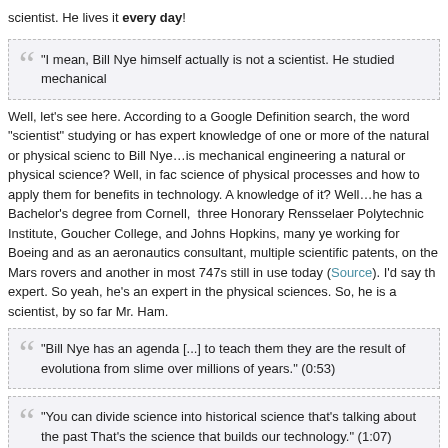scientist. He lives it every day!
"I mean, Bill Nye himself actually is not a scientist. He studied mechanical
Well, let's see here. According to a Google Definition search, the word "scientist" studying or has expert knowledge of one or more of the natural or physical sciences to Bill Nye...is mechanical engineering a natural or physical science? Well, in fact science of physical processes and how to apply them for benefits in technology. A knowledge of it? Well...he has a Bachelor's degree from Cornell, three Honorary Rensselaer Polytechnic Institute, Goucher College, and Johns Hopkins, many ye working for Boeing and as an aeronautics consultant, multiple scientific patents, on the Mars rovers and another in most 747s still in use today (Source). I'd say th expert. So yeah, he's an expert in the physical sciences. So, he is a scientist, by so far Mr. Ham.
"Bill Nye has an agenda [...] to teach them they are the result of evolutiona from slime over millions of years." (0:53)
"You can divide science into historical science that's talking about the past That's the science that builds our technology." (1:07)
All science is "observational science." This whole "historical science" talk is nons science is inherently observational. Science tries to learn and impart knowledge o how do we do this? Through the scientific method, with painstaking attention to d